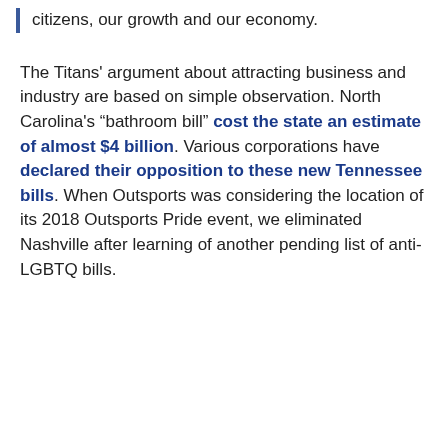citizens, our growth and our economy.
The Titans' argument about attracting business and industry are based on simple observation. North Carolina's “bathroom bill” cost the state an estimate of almost $4 billion. Various corporations have declared their opposition to these new Tennessee bills. When Outsports was considering the location of its 2018 Outsports Pride event, we eliminated Nashville after learning of another pending list of anti-LGBTQ bills.